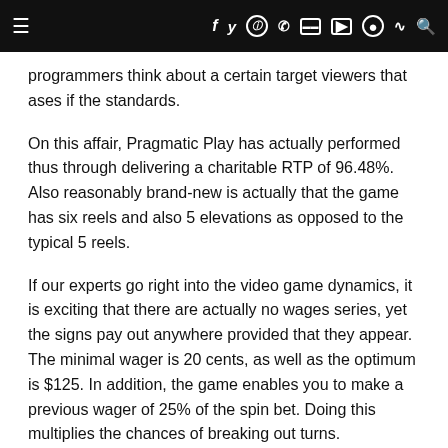≡  f  twitter  instagram  pinterest  flickr  youtube  snapchat  rss  search
programmers think about a certain target viewers that ases if the standards.
On this affair, Pragmatic Play has actually performed thus through delivering a charitable RTP of 96.48%. Also reasonably brand-new is actually that the game has six reels and also 5 elevations as opposed to the typical 5 reels.
If our experts go right into the video game dynamics, it is exciting that there are actually no wages series, yet the signs pay out anywhere provided that they appear. The minimal wager is 20 cents, as well as the optimum is $125. In addition, the game enables you to make a previous wager of 25% of the spin bet. Doing this multiplies the chances of breaking out turns.